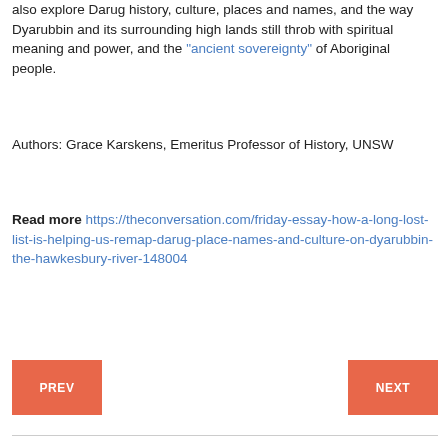also explore Darug history, culture, places and names, and the way Dyarubbin and its surrounding high lands still throb with spiritual meaning and power, and the "ancient sovereignty" of Aboriginal people.
Authors: Grace Karskens, Emeritus Professor of History, UNSW
Read more https://theconversation.com/friday-essay-how-a-long-lost-list-is-helping-us-remap-darug-place-names-and-culture-on-dyarubbin-the-hawkesbury-river-148004